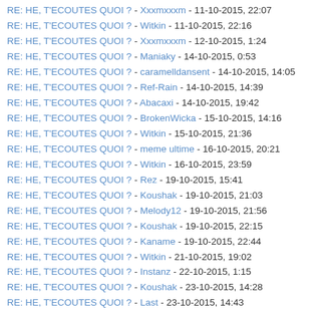RE: HE, T'ECOUTES QUOI ? - Xxxmxxxm - 11-10-2015, 22:07
RE: HE, T'ECOUTES QUOI ? - Witkin - 11-10-2015, 22:16
RE: HE, T'ECOUTES QUOI ? - Xxxmxxxm - 12-10-2015, 1:24
RE: HE, T'ECOUTES QUOI ? - Maniaky - 14-10-2015, 0:53
RE: HE, T'ECOUTES QUOI ? - caramelldansent - 14-10-2015, 14:05
RE: HE, T'ECOUTES QUOI ? - Ref-Rain - 14-10-2015, 14:39
RE: HE, T'ECOUTES QUOI ? - Abacaxi - 14-10-2015, 19:42
RE: HE, T'ECOUTES QUOI ? - BrokenWicka - 15-10-2015, 14:16
RE: HE, T'ECOUTES QUOI ? - Witkin - 15-10-2015, 21:36
RE: HE, T'ECOUTES QUOI ? - meme ultime - 16-10-2015, 20:21
RE: HE, T'ECOUTES QUOI ? - Witkin - 16-10-2015, 23:59
RE: HE, T'ECOUTES QUOI ? - Rez - 19-10-2015, 15:41
RE: HE, T'ECOUTES QUOI ? - Koushak - 19-10-2015, 21:03
RE: HE, T'ECOUTES QUOI ? - Melody12 - 19-10-2015, 21:56
RE: HE, T'ECOUTES QUOI ? - Koushak - 19-10-2015, 22:15
RE: HE, T'ECOUTES QUOI ? - Kaname - 19-10-2015, 22:44
RE: HE, T'ECOUTES QUOI ? - Witkin - 21-10-2015, 19:02
RE: HE, T'ECOUTES QUOI ? - Instanz - 22-10-2015, 1:15
RE: HE, T'ECOUTES QUOI ? - Koushak - 23-10-2015, 14:28
RE: HE, T'ECOUTES QUOI ? - Last - 23-10-2015, 14:43
RE: HE, T'ECOUTES QUOI ? - Witkin - 23-10-2015, 16:24
RE: HE, T'ECOUTES QUOI ? - Koushak - 24-10-2015, 17:54